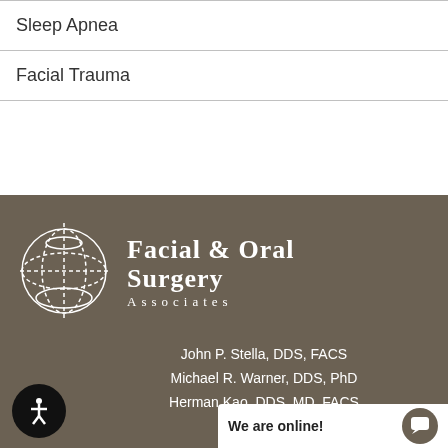Sleep Apnea
Facial Trauma
[Figure (logo): Facial & Oral Surgery Associates logo with circular crosshair/globe graphic and practice name]
John P. Stella, DDS, FACS
Michael R. Warner, DDS, PhD
Herman Kao, DDS, MD, FACS
Fayette C. W...